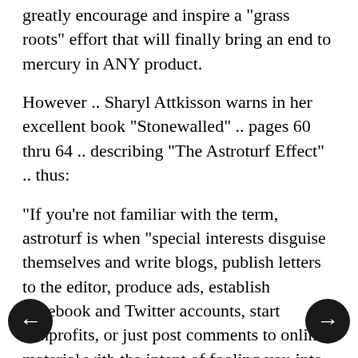greatly encourage and inspire a "grass roots" effort that will finally bring an end to mercury in ANY product.
However .. Sharyl Attkisson warns in her excellent book "Stonewalled" .. pages 60 thru 64 .. describing "The Astroturf Effect" .. thus:
"If you're not familiar with the term, astroturf is when "special interests disguise themselves and write blogs, publish letters to the editor, produce ads, establish Facebook and Twitter accounts, start nonprofits, or just post comments to online material with the intent of fooling you into believing an indpendent or grassroots movement is speaking. There's an entire industry built around it in Washington, D.C. and some lobbyists now say that astroturf is more important and effective